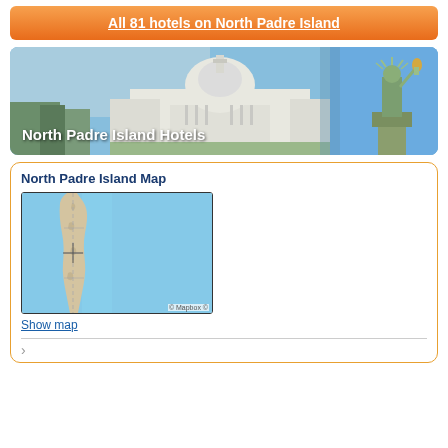All 81 hotels on North Padre Island
[Figure (photo): Banner image showing the US Capitol building on the left and the Statue of Liberty on the right with text overlay 'North Padre Island Hotels']
North Padre Island Map
[Figure (map): Map of North Padre Island showing a narrow barrier island (Padre Island) between the Gulf of Mexico and Laguna Madre bay, rendered in light blue water and beige land. Mapbox copyright notice visible.]
Show map